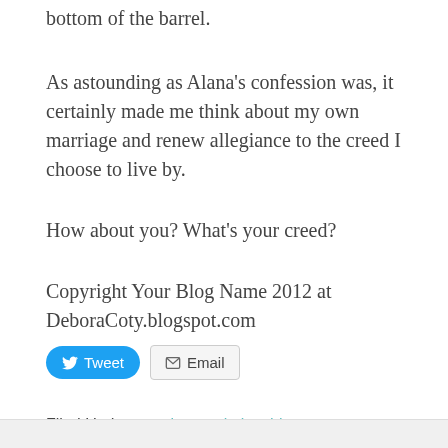bottom of the barrel.
As astounding as Alana’s confession was, it certainly made me think about my own marriage and renew allegiance to the creed I choose to live by.
How about you? What’s your creed?
Copyright Your Blog Name 2012 at DeboraCoty.blogspot.com
Filed Under: marriage, relationships
Comments